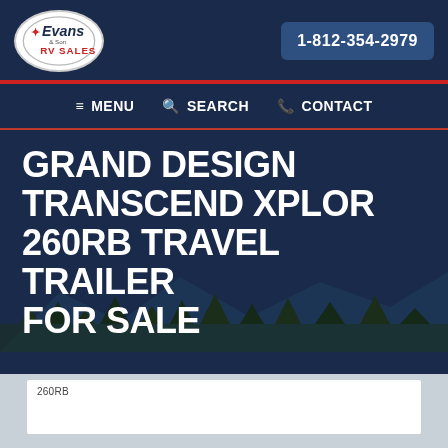[Figure (logo): Evans & Son RV Sales oval logo with red text]
1-812-354-2979
≡ MENU   🔍 SEARCH   📞 CONTACT
GRAND DESIGN TRANSCEND XPLOR 260RB TRAVEL TRAILER FOR SALE
260RB